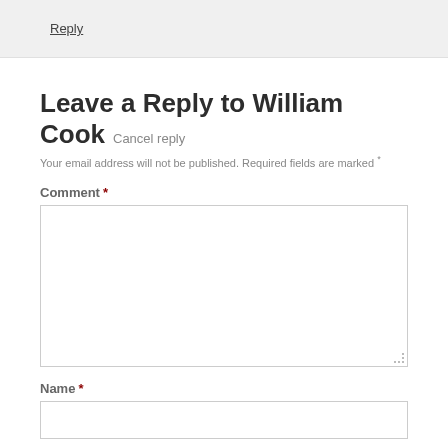Reply
Leave a Reply to William Cook Cancel reply
Your email address will not be published. Required fields are marked *
Comment *
Name *
Email *